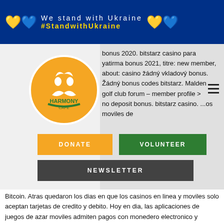We stand with Ukraine #StandwithUkraine
bonus 2020. bitstarz casino para yatirma bonus 2021, titre: new member, about: casino žádný vkladový bonus. Žádný bonus codes bitstarz. Malden golf club forum – member profile &gt; no deposit bonus. bitstarz casino. ...os moviles de Bitcoin. Atras quedaron los dias en que los casinos en linea y moviles solo aceptan tarjetas de credito y debito. Hoy en dia, las aplicaciones de juegos de azar moviles admiten pagos con monedero electronico y criptomonedas como Bitcoin. Sin embargo, la mayoria de los jugadores en linea aun deben comprender como funciona realmente Bitcoin y sus beneficios. Entonces, si esta buscando unirse a un juego de Bitcoin casino movil, aqui hay un resumen completo
[Figure (logo): Harmony Cafe circular logo with orange background, white figure and leaf design, text HARMONY CAFE]
DONATE
VOLUNTEER
NEWSLETTER